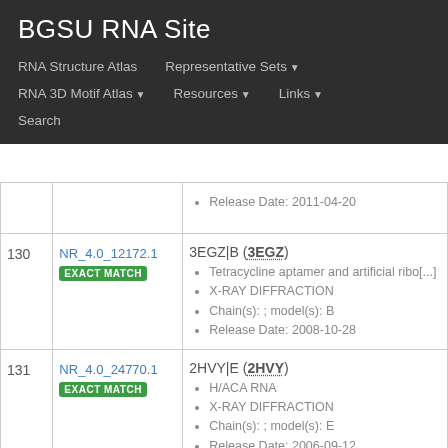BGSU RNA Site
RNA Structure Atlas | Representative Sets ▼ | RNA 3D Motif Atlas ▼ | Resources ▼ | Links ▼ | Search
| # | ID | Info |
| --- | --- | --- |
|  |  | Release Date: 2011-04-20 |
| 130 | NR_4.0_12172.1 EXACT MATCH | 3EGZ|B (3EGZ)
• Tetracycline aptamer and artificial ribo[...]
• X-RAY DIFFRACTION
• Chain(s): ; model(s): B
• Release Date: 2008-10-28 |
| 131 | NR_4.0_24770.1 EXACT MATCH | 2HVY|E (2HVY)
• H/ACA RNA
• X-RAY DIFFRACTION
• Chain(s): ; model(s): E
• Release Date: 2006-09-12 |
| 132 | NR_4.0_20755.1 | 3NKB|B (3NKB) |